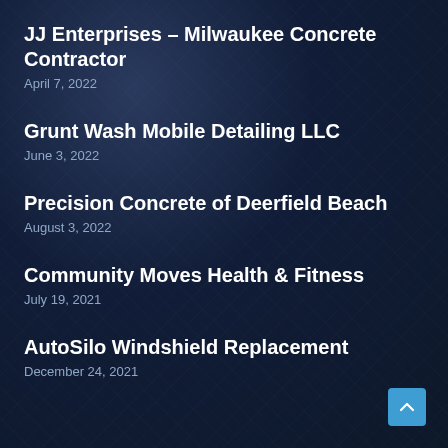JJ Enterprises – Milwaukee Concrete Contractor
April 7, 2022
Grunt Wash Mobile Detailing LLC
June 3, 2022
Precision Concrete of Deerfield Beach
August 3, 2022
Community Moves Health & Fitness
July 19, 2021
AutoSilo Windshield Replacement
December 24, 2021